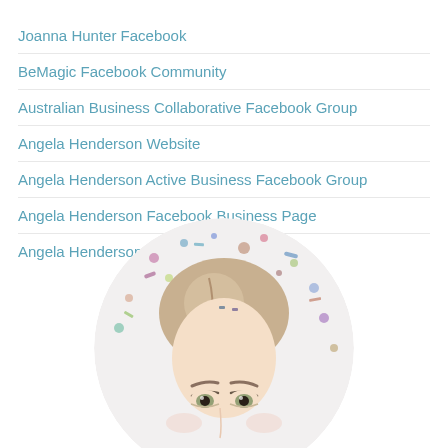Joanna Hunter Facebook
BeMagic Facebook Community
Australian Business Collaborative Facebook Group
Angela Henderson Website
Angela Henderson Active Business Facebook Group
Angela Henderson Facebook Business Page
Angela Henderson Consulting Instagram
[Figure (photo): Circular cropped photo of a blonde woman with confetti, showing from top of head to just below eyebrows, shot from slightly above]